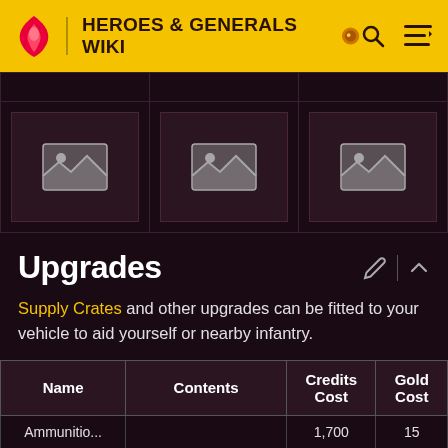HEROES & GENERALS WIKI
[Figure (screenshot): Three image placeholder cells in a dark grid layout]
Upgrades
Supply Crates and other upgrades can be fitted to your vehicle to aid yourself or nearby infantry.
| Name | Contents | Credits Cost | Gold Cost |
| --- | --- | --- | --- |
| Ammunition... |  | 1,700 | 15 |